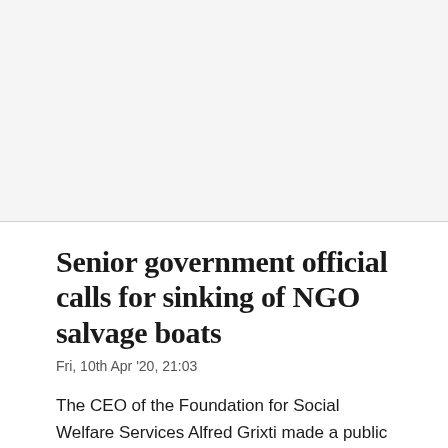[Figure (photo): Image placeholder area at the top of the article page, appears blank/white]
Senior government official calls for sinking of NGO salvage boats
Fri, 10th Apr '20, 21:03
The CEO of the Foundation for Social Welfare Services Alfred Grixti made a public call on